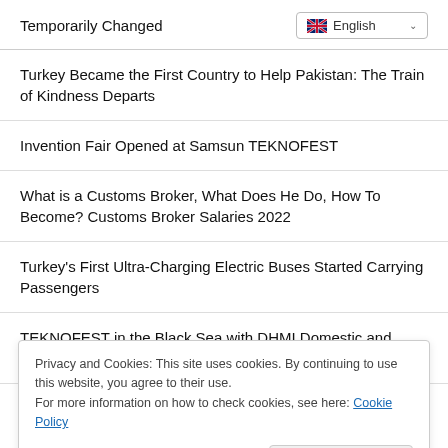Temporarily Changed
Turkey Became the First Country to Help Pakistan: The Train of Kindness Departs
Invention Fair Opened at Samsun TEKNOFEST
What is a Customs Broker, What Does He Do, How To Become? Customs Broker Salaries 2022
Turkey's First Ultra-Charging Electric Buses Started Carrying Passengers
TEKNOFEST in the Black Sea with DHMI Domestic and National Systems
Privacy and Cookies: This site uses cookies. By continuing to use this website, you agree to their use.
For more information on how to check cookies, see here: Cookie Policy
OK
Specialized Doctors and Specialist Dentists Has Started